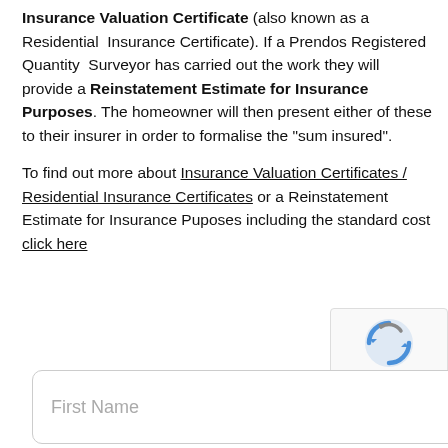Insurance Valuation Certificate (also known as a Residential Insurance Certificate). If a Prendos Registered Quantity Surveyor has carried out the work they will provide a Reinstatement Estimate for Insurance Purposes. The homeowner will then present either of these to their insurer in order to formalise the “sum insured”.
To find out more about Insurance Valuation Certificates / Residential Insurance Certificates or a Reinstatement Estimate for Insurance Puposes including the standard cost click here
[Figure (other): reCAPTCHA badge with spinning arrows icon and Privacy - Terms text]
First Name